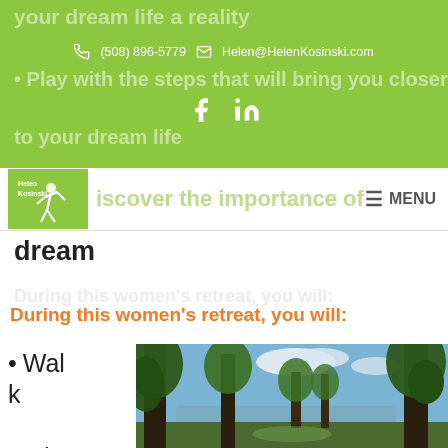your dream life a reality
(508) 896-5779  Helen@HelenKosinski.com
Play with the steps that will bring you closer to your dream life
Discover the importance of nurturing dream
During this women's retreat, you will:
Walk and connect
[Figure (photo): Forest path with tall trees and a lake visible in the background under a blue sky with clouds]